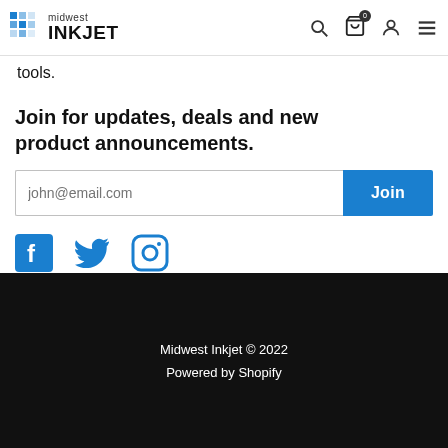midwest INKJET
tools.
Join for updates, deals and new product announcements.
[Figure (other): Email signup form with text input placeholder 'john@email.com' and a blue 'Join' button]
[Figure (other): Social media icons: Facebook, Twitter, Instagram]
Midwest Inkjet © 2022
Powered by Shopify